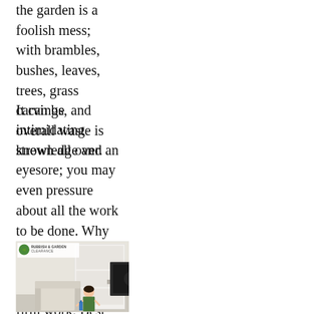the garden is a foolish mess; with brambles, bushes, leaves, trees, grass carvings, and overall waste is strewn all over.
It can be intimidating knowledge and an eyesore; you may even pressure about all the work to be done. Why put physically under stress? They'll do all the firm work. Best of all they will eliminate all the rubbish sendoff a nice and neat garden that you can enjoy and relax in.
[Figure (photo): Photo of two people cleaning an indoor room. A woman in a green/yellow uniform kneels near a TV stand, and a man in yellow uniform works near white shelving units. The image has a 'Rubbish & Garden Clearance' logo watermark in the top left corner.]